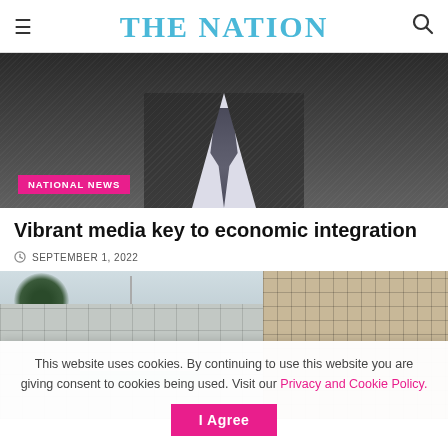THE NATION
[Figure (photo): Close-up of a person in a dark pinstripe suit with white shirt and dark tie, shown from chest down. A pink badge reads 'NATIONAL NEWS' in the lower left corner.]
Vibrant media key to economic integration
SEPTEMBER 1, 2022
[Figure (photo): Exterior view of a multi-story institutional building with grid-pattern concrete facade and windows, with trees visible in the background.]
This website uses cookies. By continuing to use this website you are giving consent to cookies being used. Visit our Privacy and Cookie Policy.